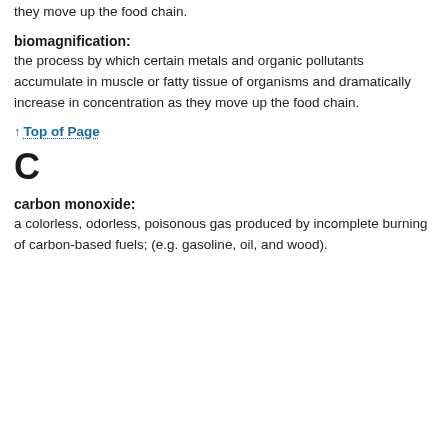they move up the food chain.
biomagnification:
the process by which certain metals and organic pollutants accumulate in muscle or fatty tissue of organisms and dramatically increase in concentration as they move up the food chain.
↑ Top of Page
C
carbon monoxide:
a colorless, odorless, poisonous gas produced by incomplete burning of carbon-based fuels; (e.g. gasoline, oil, and wood).